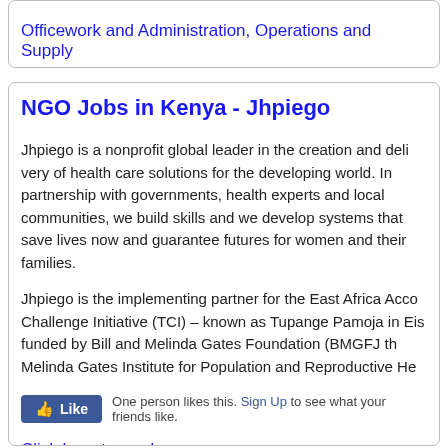Officework and Administration, Operations and Supply
NGO Jobs in Kenya - Jhpiego
Jhpiego is a nonprofit global leader in the creation and delivery of health care solutions for the developing world. In partnership with governments, health experts and local communities, we build skills and we develop systems that save lives now and guarantee futures for women and their families.
Jhpiego is the implementing partner for the East Africa Acceleration Challenge Initiative (TCI) – known as Tupange Pamoja in E… is funded by Bill and Melinda Gates Foundation (BMGFJ th… Melinda Gates Institute for Population and Reproductive He…
One person likes this. Sign Up to see what your friends like.
Click here to read more